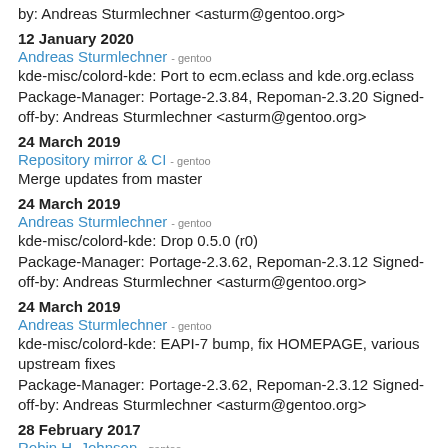by: Andreas Sturmlechner <asturm@gentoo.org>
12 January 2020
Andreas Sturmlechner - gentoo
kde-misc/colord-kde: Port to ecm.eclass and kde.org.eclass Package-Manager: Portage-2.3.84, Repoman-2.3.20 Signed-off-by: Andreas Sturmlechner <asturm@gentoo.org>
24 March 2019
Repository mirror & CI - gentoo
Merge updates from master
24 March 2019
Andreas Sturmlechner - gentoo
kde-misc/colord-kde: Drop 0.5.0 (r0) Package-Manager: Portage-2.3.62, Repoman-2.3.12 Signed-off-by: Andreas Sturmlechner <asturm@gentoo.org>
24 March 2019
Andreas Sturmlechner - gentoo
kde-misc/colord-kde: EAPI-7 bump, fix HOMEPAGE, various upstream fixes Package-Manager: Portage-2.3.62, Repoman-2.3.12 Signed-off-by: Andreas Sturmlechner <asturm@gentoo.org>
28 February 2017
Robin H. Johnson - gentoo